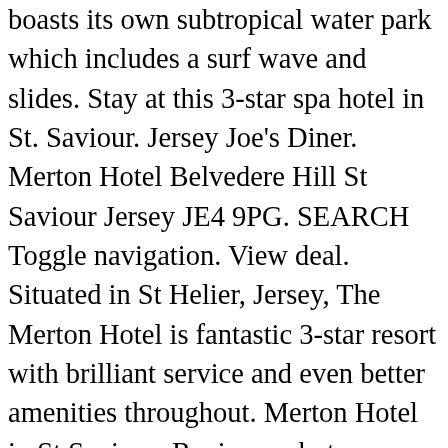boasts its own subtropical water park which includes a surf wave and slides. Stay at this 3-star spa hotel in St. Saviour. Jersey Joe's Diner. Merton Hotel Belvedere Hill St Saviour Jersey JE4 9PG. SEARCH Toggle navigation. View deal. Situated in St Helier, Jersey, The Merton Hotel is fantastic 3-star resort with brilliant service and even better amenities throughout. Merton Hotel in St Saviour: Reviews, photos, location, services. The hotel offers something for everyone and is ideal for couples, families and kids. Spend 5 nights at the 3* Merton hotel, which is ideally located just a 15 minute walk from the centre of St. Helier, with Howard Davis Park just a short stroll away. See great photos, full ratings, facilities, expert advice and book the best hotel deals. Merton Hotel. The Merton Suites are adjacent to The Merton Hotel and provide 28 units of stylish